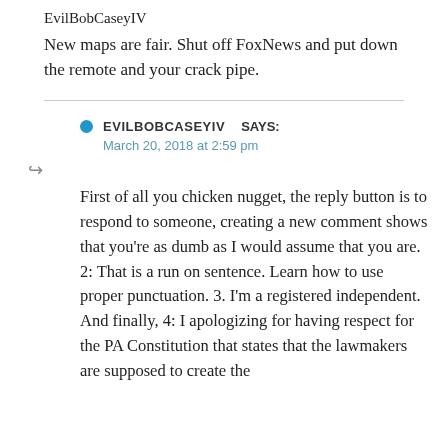EvilBobCaseyIV
New maps are fair. Shut off FoxNews and put down the remote and your crack pipe.
● EVILBOBCASEYIV   SAYS:
March 20, 2018 at 2:59 pm
First of all you chicken nugget, the reply button is to respond to someone, creating a new comment shows that you're as dumb as I would assume that you are. 2: That is a run on sentence. Learn how to use proper punctuation. 3. I'm a registered independent. And finally, 4: I apologizing for having respect for the PA Constitution that states that the lawmakers are supposed to create the